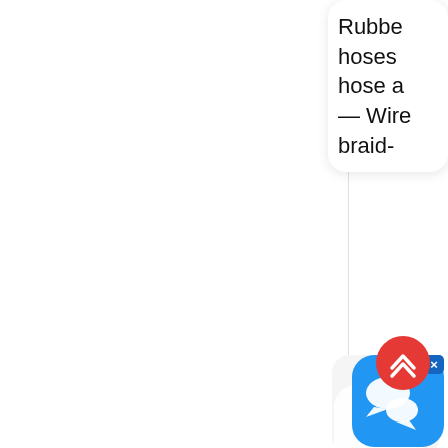Rubber hoses hose a — Wire braid-
[Figure (screenshot): Chat widget icon — blue rounded square with white speech bubble icons and an X close button]
[Figure (photo): Hydraulic hose crimping connector — metal fitting on white background]
[Figure (other): Red circular scroll-to-top button with upward chevron arrows]
Hydraulic Crimping Machine Price, 2021 Hydraulic Crimping
HEBEI